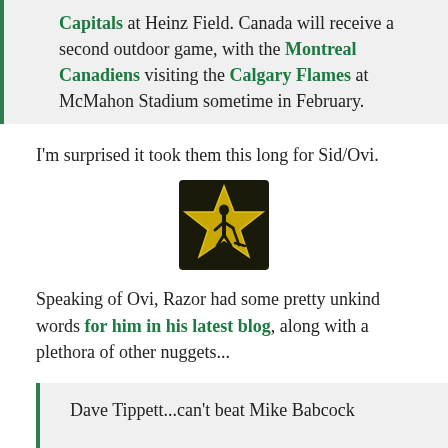Capitals at Heinz Field. Canada will receive a second outdoor game, with the Montreal Canadiens visiting the Calgary Flames at McMahon Stadium sometime in February.
I'm surprised it took them this long for Sid/Ovi.
[Figure (illustration): A star-shaped icon with a hockey player silhouette in the center, gold star on dark background]
Speaking of Ovi, Razor had some pretty unkind words for him in his latest blog, along with a plethora of other nuggets...
Dave Tippett...can't beat Mike Babcock
Alex Ovechkin...is a one trick pony and a big game gagger.